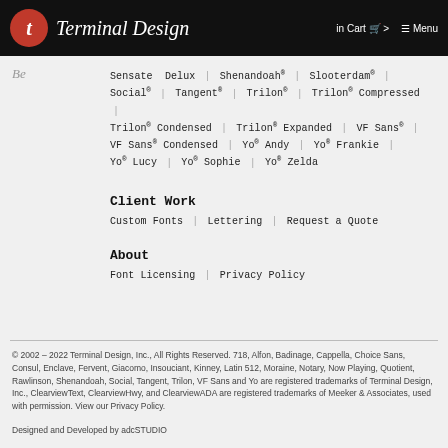Terminal Design — in Cart > Menu
Be  Sensate  Delux  Shenandoah®  Slooterdam®  Social®  Tangent®  Trilon®  Trilon® Compressed  Trilon® Condensed  Trilon® Expanded  VF Sans®  VF Sans® Condensed  Yo® Andy  Yo® Frankie  Yo® Lucy  Yo® Sophie  Yo® Zelda
Client Work
Custom Fonts  |  Lettering  |  Request a Quote
About
Font Licensing  |  Privacy Policy
© 2002 – 2022 Terminal Design, Inc., All Rights Reserved. 718, Alfon, Badinage, Cappella, Choice Sans, Consul, Enclave, Fervent, Giacomo, Insouciant, Kinney, Latin 512, Moraine, Notary, Now Playing, Quotient, Rawlinson, Shenandoah, Social, Tangent, Trilon, VF Sans and Yo are registered trademarks of Terminal Design, Inc., ClearviewText, ClearviewHwy, and ClearviewADA are registered trademarks of Meeker & Associates, used with permission. View our Privacy Policy.
Designed and Developed by adcSTUDIO